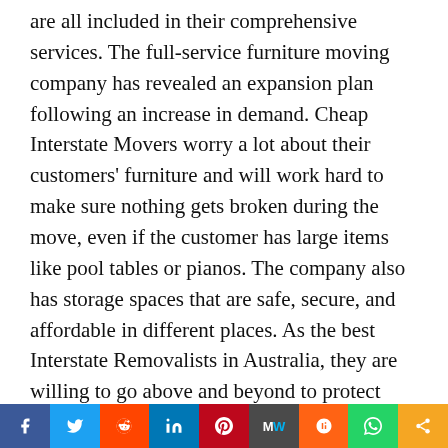are all included in their comprehensive services. The full-service furniture moving company has revealed an expansion plan following an increase in demand. Cheap Interstate Movers worry a lot about their customers' furniture and will work hard to make sure nothing gets broken during the move, even if the customer has large items like pool tables or pianos. The company also has storage spaces that are safe, secure, and affordable in different places. As the best Interstate Removalists in Australia, they are willing to go above and beyond to protect their name.
Cheap Interstate Movers provides services for both families and businesses. Aside from interstate moves, the company also does packing and unpacking and takes apart
[Figure (infographic): Social media sharing bar with icons for Facebook, Twitter, Reddit, LinkedIn, Pinterest, MeWe, Mix, WhatsApp, and Share]